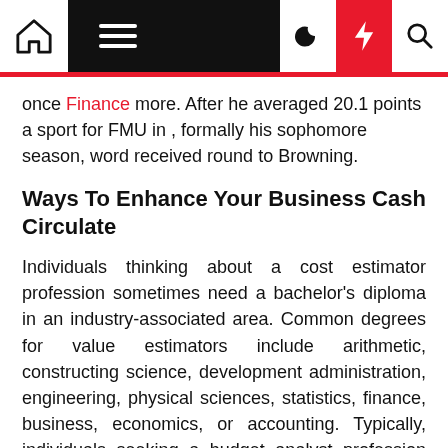Navigation bar with home, menu, moon, bolt, and search icons
once Finance more. After he averaged 20.1 points a sport for FMU in , formally his sophomore season, word received round to Browning.
Ways To Enhance Your Business Cash Circulate
Individuals thinking about a cost estimator profession sometimes need a bachelor's diploma in an industry-associated area. Common degrees for value estimators include arithmetic, constructing science, development administration, engineering, physical sciences, statistics, finance, business, economics, or accounting. Typically, individuals seeking a budget analyst profession need at least a bachelor's diploma, though some employers require a grasp's degree. A variety Business & Finance of